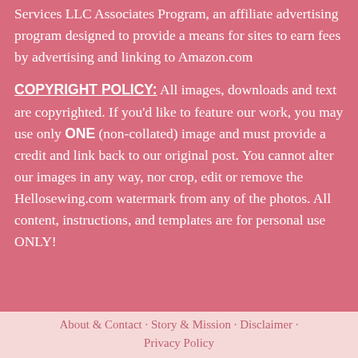Services LLC Associates Program, an affiliate advertising program designed to provide a means for sites to earn fees by advertising and linking to Amazon.com
COPYRIGHT POLICY: All images, downloads and text are copyrighted. If you'd like to feature our work, you may use only ONE (non-collated) image and must provide a credit and link back to our original post. You cannot alter our images in any way, nor crop, edit or remove the Hellosewing.com watermark from any of the photos. All content, instructions, and templates are for personal use ONLY!
About & Contact · Story & Mission · Disclaimer · Privacy Policy